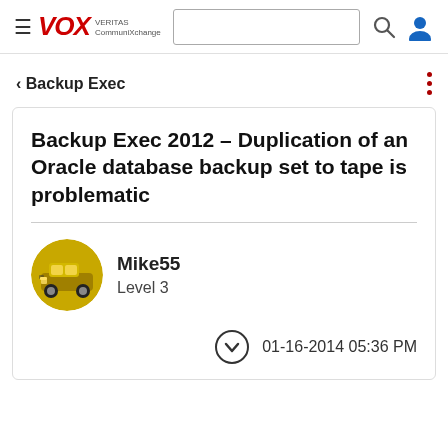≡ VOX VERITAS CommuniXchange
< Backup Exec
Backup Exec 2012 – Duplication of an Oracle database backup set to tape is problematic
Mike55
Level 3
01-16-2014 05:36 PM